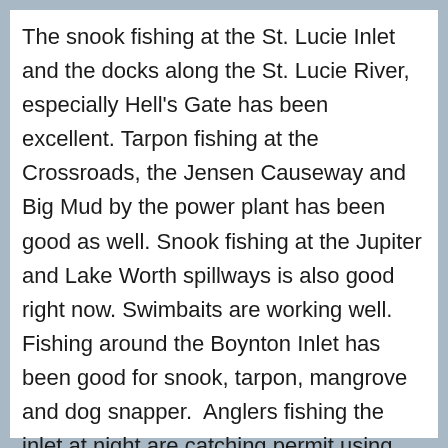The snook fishing at the St. Lucie Inlet and the docks along the St. Lucie River, especially Hell's Gate has been excellent. Tarpon fishing at the Crossroads, the Jensen Causeway and Big Mud by the power plant has been good as well. Snook fishing at the Jupiter and Lake Worth spillways is also good right now. Swimbaits are working well. Fishing around the Boynton Inlet has been good for snook, tarpon, mangrove and dog snapper.  Anglers fishing the inlet at night are catching permit using whole squid or live crabs.